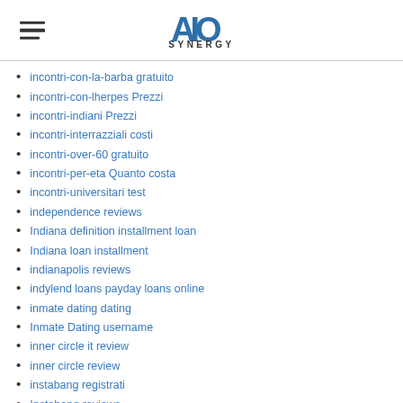AIO SYNERGY
incontri-con-la-barba gratuito
incontri-con-lherpes Prezzi
incontri-indiani Prezzi
incontri-interrazziali costi
incontri-over-60 gratuito
incontri-per-eta Quanto costa
incontri-universitari test
independence reviews
Indiana definition installment loan
Indiana loan installment
indianapolis reviews
indylend loans payday loans online
inmate dating dating
Inmate Dating username
inner circle it review
inner circle review
instabang registrati
Instabang reviews
Instabang visitors
installment loans com